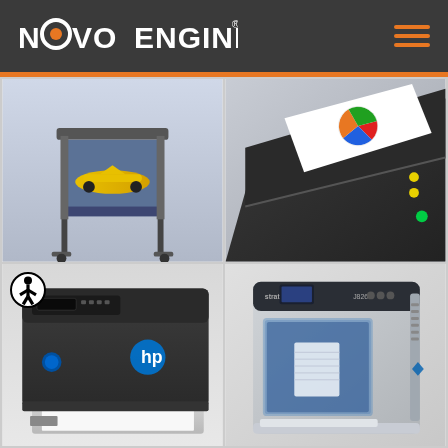NOVO ENGINEERING
[Figure (photo): Large format printer/plotter displaying a yellow Formula 1 race car image on a floor stand]
[Figure (photo): Close-up of a desktop scanner or printer with a colorful pie chart document on it, dark body with yellow and green indicator lights]
[Figure (photo): HP desktop inkjet printer, dark gray and silver, with paper tray extended]
[Figure (photo): 3D printer (Stratasys or similar brand) with transparent front panel showing blue-lit interior and a white printed part inside]